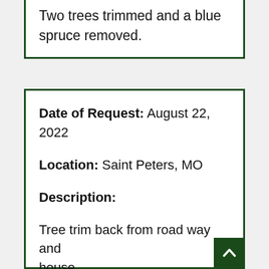Two trees trimmed and a blue spruce removed.
Date of Request: August 22, 2022

Location: Saint Peters, MO

Description:

Tree trim back from road way and house.